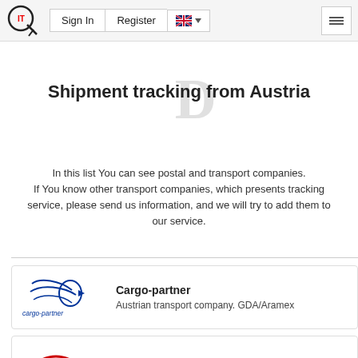Sign In | Register | [EN flag] | [menu]
Shipment tracking from Austria
In this list You can see postal and transport companies. If You know other transport companies, which presents tracking service, please send us information, and we will try to add them to our service.
[Figure (logo): Cargo-partner company logo with swooping arrow lines in blue]
Cargo-partner
Austrian transport company. GDA/Aramex
[Figure (logo): Ontime Logistics company logo with red and blue swoosh]
Ontime Logistics